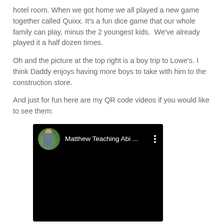hotel room. When we got home we all played a new game together called Quixx. It's a fun dice game that our whole family can play, minus the 2 youngest kids.  We've already played it a half dozen times.
Oh and the picture at the top right is a boy trip to Lowe's. I think Daddy enjoys having more boys to take with him to the construction store.
And just for fun here are my QR code videos if you would like to see them:
[Figure (screenshot): A YouTube video player with a black background. The video header shows a circular avatar (person in outdoor/nature setting) and the title 'Matthew Teaching Abi ...' with a three-dot menu icon. The video body is entirely black.]